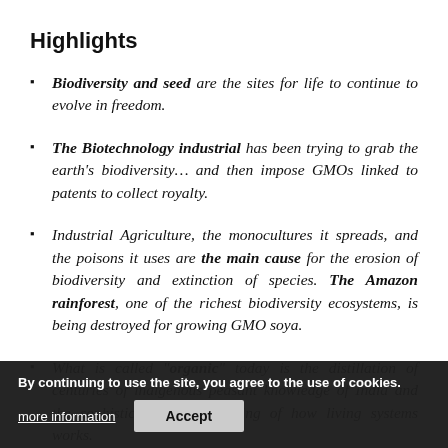Highlights
Biodiversity and seed are the sites for life to continue to evolve in freedom.
The Biotechnology industrial has been trying to grab the earth's biodiversity… and then impose GMOs linked to patents to collect royalty.
Industrial Agriculture, the monocultures it spreads, and the poisons it uses are the main cause for the erosion of biodiversity and extinction of species. The Amazon rainforest, one of the richest biodiversity ecosystems, is being destroyed for growing GMO soya.
What is called "organic" today is the distillation of centuries of indigenous peasant knowledge of India and the sophisticated understanding of how living systems works.
By continuing to use the site, you agree to the use of cookies.